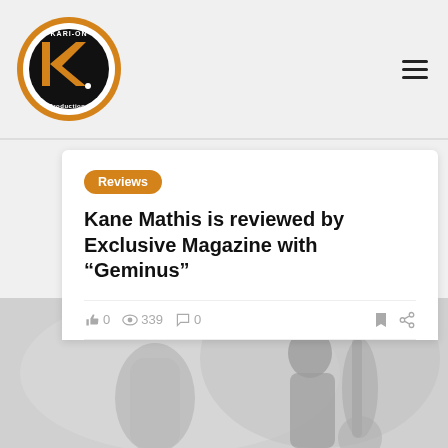Kari-On Productions logo and navigation
Reviews
Kane Mathis is reviewed by Exclusive Magazine with “Geminus”
0 likes  339 views  0 comments
[Figure (photo): Black and white photo of musicians with saxophone/bass instruments in a misty/foggy studio setting]